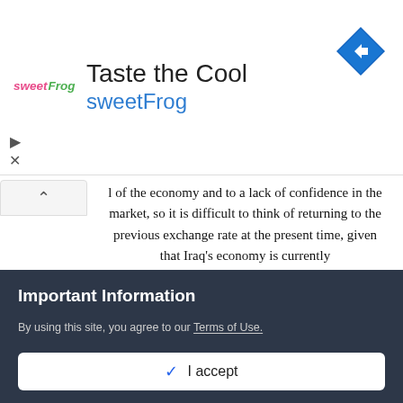[Figure (logo): sweetFrog logo with colorful text and frog graphic]
Taste the Cool
sweetFrog
[Figure (other): Blue diamond navigation/directions icon with right-turn arrow]
l of the economy and to a lack of confidence in the market, so it is difficult to think of returning to the previous exchange rate at the present time, given that Iraq's economy is currently working on the new rate ." Regarding the file of high oil prices, he indicated that "a double-edged sword, and when it rises, it will lead to a state of uncertainty, so there is no guarantee that it will continue at a rate of $100 per barrel, so most countries' budgets are built on conservative oil prices. If a surplus is achieved, it transfers the surplus to what is not other revenue ." He added, "We cannot base the upcoming budget scenarios on
Important Information
By using this site, you agree to our Terms of Use.
✓ I accept